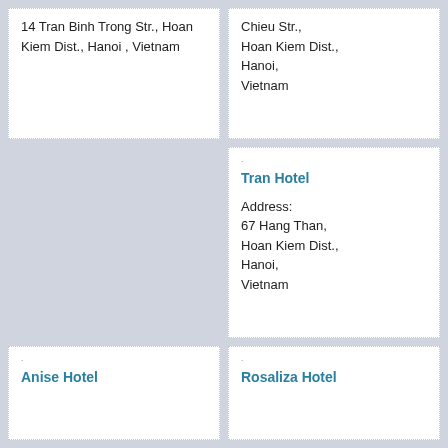14 Tran Binh Trong Str., Hoan Kiem Dist., Hanoi , Vietnam
Chieu Str., Hoan Kiem Dist., Hanoi, Vietnam
Tran Hotel
Address: 67 Hang Than, Hoan Kiem Dist., Hanoi, Vietnam
Anise Hotel
Rosaliza Hotel